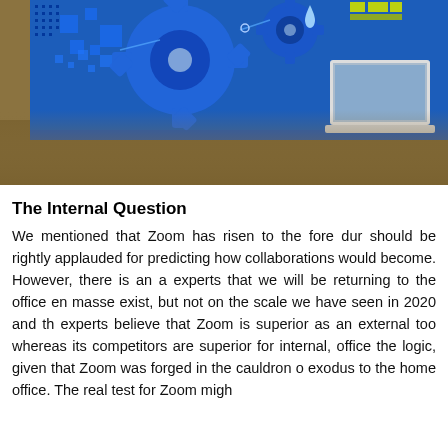[Figure (photo): Technology illustration showing digital gears, circuit-board dot patterns in blue, and a laptop on a wooden desk surface — a conceptual image of digital collaboration and technology.]
The Internal Question
We mentioned that Zoom has risen to the fore dur should be rightly applauded for predicting how collaborations would become. However, there is an a experts that we will be returning to the office en masse exist, but not on the scale we have seen in 2020 and th experts believe that Zoom is superior as an external too whereas its competitors are superior for internal, office the logic, given that Zoom was forged in the cauldron o exodus to the home office. The real test for Zoom migh